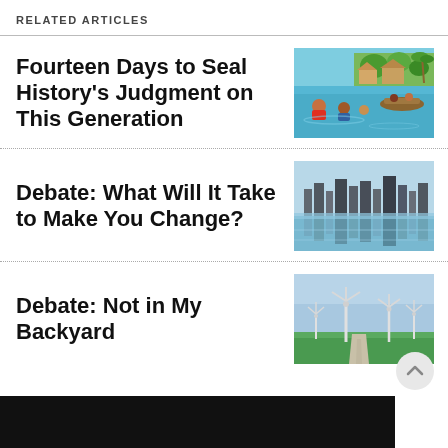RELATED ARTICLES
Fourteen Days to Seal History's Judgment on This Generation
[Figure (illustration): Colorful painted illustration of people wading through floodwaters with boats and huts in the background]
Debate: What Will It Take to Make You Change?
[Figure (photo): Photo of a flooded city skyline reflected in still water]
Debate: Not in My Backyard
[Figure (photo): Photo of wind turbines in a green field under a blue sky]